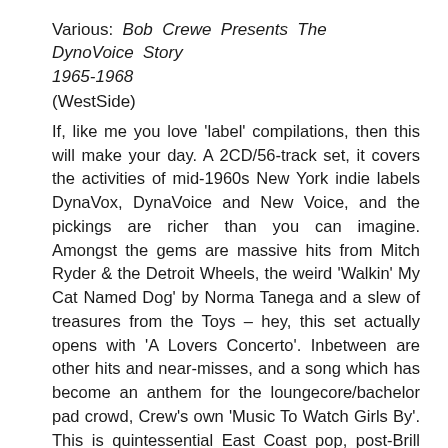Various: Bob Crewe Presents The DynoVoice Story 1965-1968
(WestSide)
If, like me you love 'label' compilations, then this will make your day. A 2CD/56-track set, it covers the activities of mid-1960s New York indie labels DynaVox, DynaVoice and New Voice, and the pickings are richer than you can imagine. Amongst the gems are massive hits from Mitch Ryder & the Detroit Wheels, the weird 'Walkin' My Cat Named Dog' by Norma Tanega and a slew of treasures from the Toys – hey, this set actually opens with 'A Lovers Concerto'. Inbetween are other hits and near-misses, and a song which has become an anthem for the loungecore/bachelor pad crowd, Crew's own 'Music To Watch Girls By'. This is quintessential East Coast pop, post-Brill Building heyday, pre-psychedelia, containing some of the finest examples of independent-producer-as-hit-machine AM-radio classics. (BeatReviews, 2001)